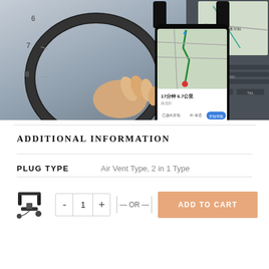[Figure (photo): A person's hand on a car steering wheel, with a smartphone mounted in a phone holder showing a navigation/maps app with Chinese text. Car dashboard buttons including NAVI, TEL, DIO, DISC visible on the right side.]
ADDITIONAL INFORMATION
| PLUG TYPE | Air Vent Type, 2 in 1 Type |
| --- | --- |
[Figure (photo): Small product thumbnail image of a car phone mount/holder with accessories.]
- 1 + — OR — ADD TO CART